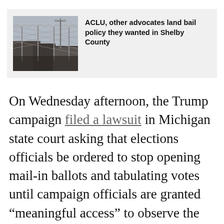[Figure (photo): Photo of a prison or jail facility with chain-link fence topped with razor wire, guard tower or light pole visible, and brick building in background. Dark and grey tones.]
ACLU, other advocates land bail policy they wanted in Shelby County
On Wednesday afternoon, the Trump campaign filed a lawsuit in Michigan state court asking that elections officials be ordered to stop opening mail-in ballots and tabulating votes until campaign officials are granted “meaningful access” to observe the process. The campaign’s statement about the suit did not explain in what way election officials had limited their access or